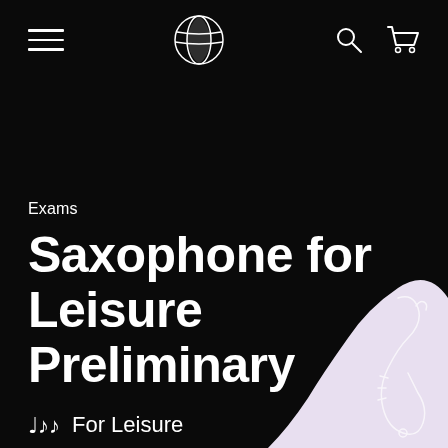Navigation bar with hamburger menu, globe logo, search and cart icons
Exams
Saxophone for Leisure Preliminary
🎵 For Leisure